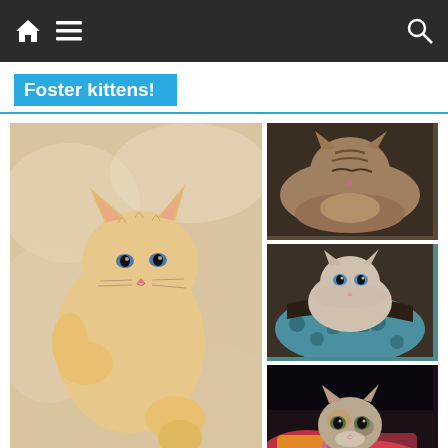Navigation bar with home icon, menu icon, and search icon
Foster kittens!
[Figure (photo): A tiny orange/cream newborn kitten lying on a fluffy white surface, raising one paw]
[Figure (photo): A tabby kitten curled up sleeping on a dark surface]
[Figure (photo): A fluffy gray and white kitten nestled in a colorful teal and brown patterned fabric bag]
[Figure (photo): A young calico/tabby kitten peeking out from colorful blankets in a dark setting]